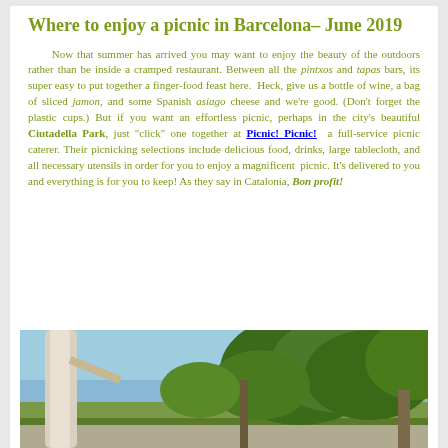Where to enjoy a picnic in Barcelona– June 2019
Now that summer has arrived you may want to enjoy the beauty of the outdoors rather than be inside a cramped restaurant. Between all the pintxos and tapas bars, its super easy to put together a finger-food feast here.  Heck, give us a bottle of wine, a bag of sliced jamon, and some Spanish asiago cheese and we're good. (Don't forget the plastic cups.) But if you want an effortless picnic, perhaps in the city's beautiful Ciutadella Park, just "click" one together at Picnic! Picnic!  a full-service picnic caterer. Their picnicking selections include delicious food, drinks, large tablecloth, and all necessary utensils in order for you to enjoy a magnificent  picnic. It's delivered to you and everything is for you to keep! As they say in Catalonia, Bon profit!
[Figure (photo): Photo of trees in a park, likely Ciutadella Park in Barcelona, with a white tree trunk on the left and green foliage against a blue sky]